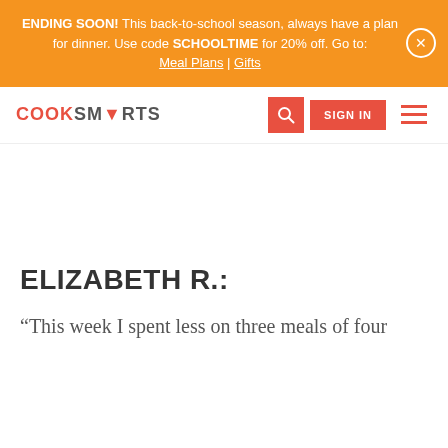ENDING SOON! This back-to-school season, always have a plan for dinner. Use code SCHOOLTIME for 20% off. Go to: Meal Plans | Gifts
[Figure (screenshot): CookSmarts website navigation bar with logo, search button, Sign In button, and hamburger menu]
ELIZABETH R.:
“This week I spent less on three meals of four